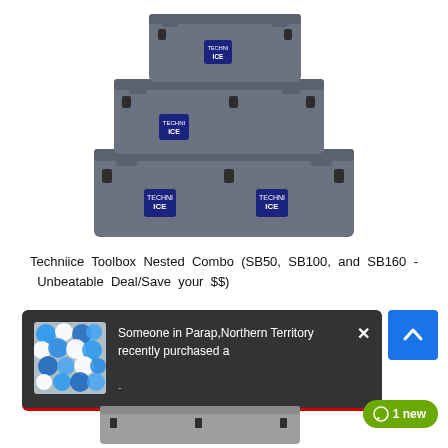[Figure (photo): Three grey Techniice toolboxes/coolers stacked in nested arrangement (SB50, SB100, SB160), each with black latches and blue Techniice logo labels]
Techniice Toolbox Nested Combo (SB50, SB100, and SB160 - Unbeatable Deal/Save your $$)
[Figure (infographic): Dark grey popup notification: small image of blue/white ice packs on left, text 'Someone in Parap,Northern Territory recently purchased a' on right with X close button, red bottom border]
[Figure (screenshot): Blue scroll-to-top button with upward chevron arrow]
[Figure (screenshot): Green oval comment button showing '1 new']
[Figure (photo): Partial bottom product image visible at page bottom]